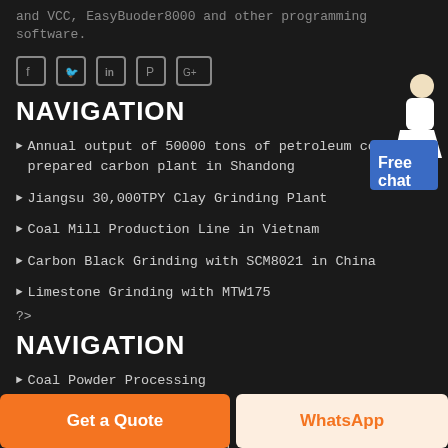and VCC, EasyBuoder8000 and other programming software.
[Figure (illustration): Social media icons: Facebook, Twitter, LinkedIn, Pinterest, Google+]
NAVIGATION
Annual output of 50000 tons of petroleum coke-prepared carbon plant in Shandong
Jiangsu 30,000TPY Clay Grinding Plant
Coal Mill Production Line in Vietnam
Carbon Black Grinding with SCM8021 in China
Limestone Grinding with MTW175
?>
NAVIGATION
Coal Powder Processing
Lime Industry
Petroleum Coke Processing
[Figure (illustration): Free chat widget with person figure and blue chat button]
Get a Quote
WhatsApp